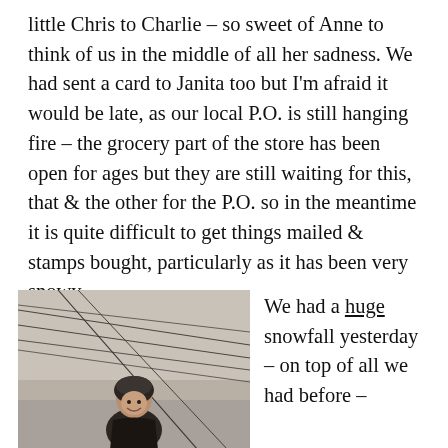little Chris to Charlie – so sweet of Anne to think of us in the middle of all her sadness. We had sent a card to Janita too but I'm afraid it would be late, as our local P.O. is still hanging fire – the grocery part of the store has been open for ages but they are still waiting for this, that & the other for the P.O. so in the meantime it is quite difficult to get things mailed & stamps bought, particularly as it has been very snowy.
[Figure (photo): Black and white photograph of a person (child or young person) wearing a headscarf and winter coat, standing outdoors in snowy conditions with power lines visible in the background.]
We had a huge snowfall yesterday – on top of all we had before –